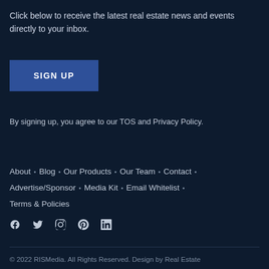Click below to receive the latest real estate news and events directly to your inbox.
SIGN UP
By signing up, you agree to our TOS and Privacy Policy.
About · Blog · Our Products · Our Team · Contact · Advertise/Sponsor · Media Kit · Email Whitelist · Terms & Policies
[Figure (other): Social media icons: Facebook, Twitter, Instagram, Pinterest, LinkedIn]
© 2022 RISMedia. All Rights Reserved. Design by Real Estate